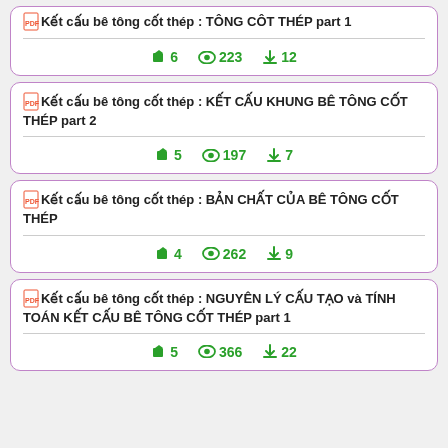Kết cấu bê tông cốt thép : TÔNG CÔT THÉP part 1 | files: 6, views: 223, downloads: 12
Kết cấu bê tông cốt thép : KẾT CẤU KHUNG BÊ TÔNG CỐT THÉP part 2 | files: 5, views: 197, downloads: 7
Kết cấu bê tông cốt thép : BẢN CHẤT CỦA BÊ TÔNG CỐT THÉP | files: 4, views: 262, downloads: 9
Kết cấu bê tông cốt thép : NGUYÊN LÝ CẤU TẠO và TÍNH TOÁN KẾT CẤU BÊ TÔNG CỐT THÉP part 1 | files: 5, views: 366, downloads: 22